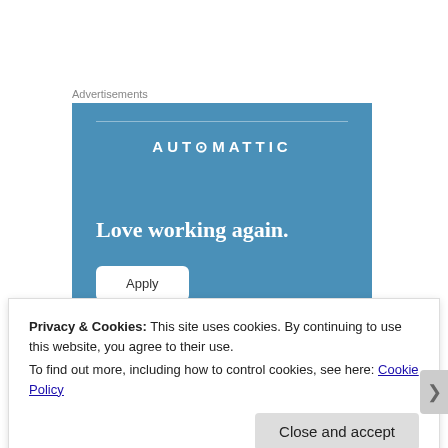Advertisements
[Figure (illustration): Automattic advertisement banner with blue background. Shows AUTOMATTIC logo at top, tagline 'Love working again.' in bold white serif text, and a white 'Apply' button.]
Privacy & Cookies: This site uses cookies. By continuing to use this website, you agree to their use.
To find out more, including how to control cookies, see here: Cookie Policy
Close and accept